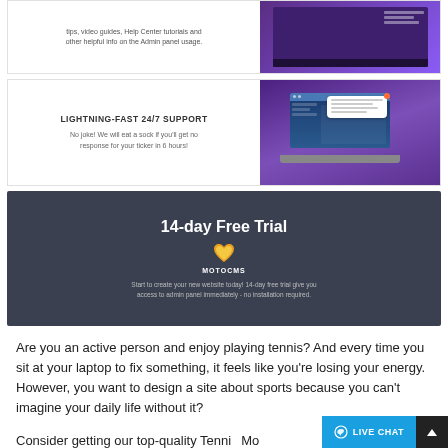[Figure (screenshot): Partial top section showing text about tips, video guides, Help Center tutorials and admin panel usage, alongside a dark purple video thumbnail]
LIGHTNING-FAST 24/7 SUPPORT
No joke! We will eat a sock if you'll get no response for your ticker in 6 hours!
[Figure (screenshot): Purple background with laptop showing website and a chat support bubble overlay]
[Figure (infographic): Dark banner: 14-day Free Trial with MotoCMS logo (orange heart icon). Text: Start to create your new website today! 14-day free trial give you access to admin panel immediately - no installation required.]
Are you an active person and enjoy playing tennis? And every time you sit at your laptop to fix something, it feels like you're losing your energy. However, you want to design a site about sports because you can't imagine your daily life without it?
Consider getting our top-quality Tennis... Moto CMS 3 Template. With Moto CMS 3 0...